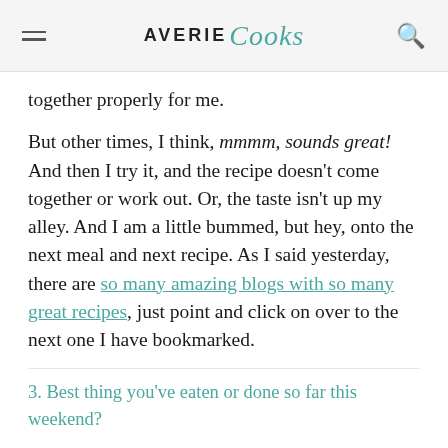AVERIE Cooks
together properly for me.
But other times, I think, mmmm, sounds great! And then I try it, and the recipe doesn't come together or work out. Or, the taste isn't up my alley. And I am a little bummed, but hey, onto the next meal and next recipe. As I said yesterday, there are so many amazing blogs with so many great recipes, just point and click on over to the next one I have bookmarked.
3. Best thing you've eaten or done so far this weekend?